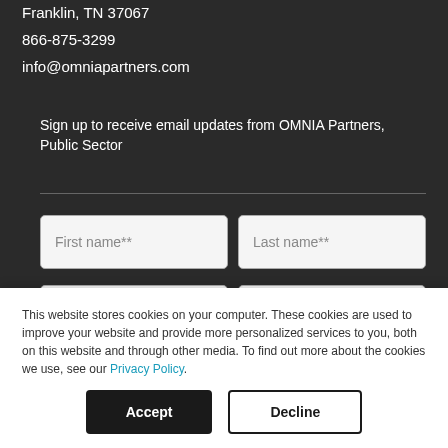Franklin, TN 37067
866-875-3299
info@omniapartners.com
Sign up to receive email updates from OMNIA Partners, Public Sector
[Figure (screenshot): Web form with First name**, Last name**, Company name**, Agency Type** input fields on dark background]
This website stores cookies on your computer. These cookies are used to improve your website and provide more personalized services to you, both on this website and through other media. To find out more about the cookies we use, see our Privacy Policy.
Accept
Decline